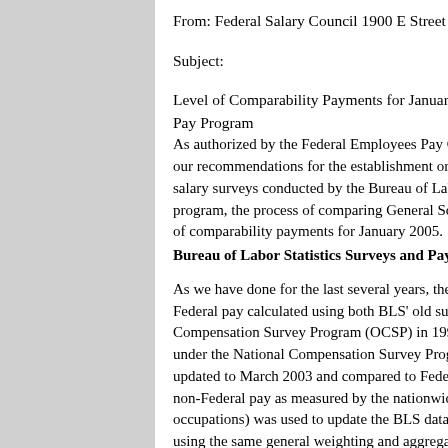From: Federal Salary Council 1900 E Street NW Washington
Subject:
Level of Comparability Payments for January 2005 and Other Pay Program
As authorized by the Federal Employees Pay Comparability A... our recommendations for the establishment or modification... salary surveys conducted by the Bureau of Labor Statistics (B... program, the process of comparing General Schedule (GS) pa... of comparability payments for January 2005.
Bureau of Labor Statistics Surveys and Pay Gap Methodolog
As we have done for the last several years, the Council review Federal pay calculated using both BLS' old survey data collec Compensation Survey Program (OCSP) in 1994-1996 and ne under the National Compensation Survey Program (NCS) in updated to March 2003 and compared to Federal pay data as non-Federal pay as measured by the nationwide employment occupations) was used to update the BLS data. All of the pay using the same general weighting and aggregation methods i
As in 2002, three of the five improvements designed for the N